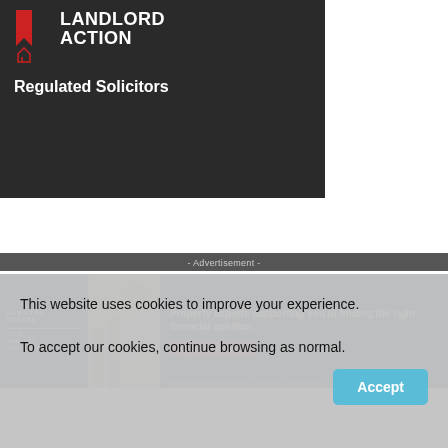[Figure (logo): Landlord Action logo with red house icon and bold white text 'LANDLORD ACTION' on dark background, with subtitle 'Regulated Solicitors']
- Advertisement -
[Figure (photo): Hamilton Fraser Total Landlord Mortgages advertisement banner with dark blue background, property image, text 'Property experts supporting you in finding the right financial solution' and a pink 'Request a callback' button]
This website uses cookies to improve your experience. To accept our cookies, continue browsing as normal.